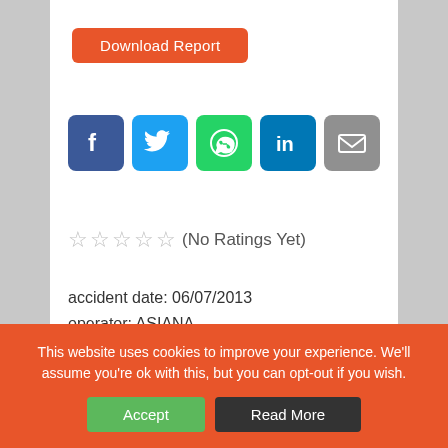[Figure (other): Orange rounded Download Report button]
[Figure (other): Row of 5 social sharing icons: Facebook (blue), Twitter (light blue), WhatsApp (green), LinkedIn (blue), Email (grey)]
☆☆☆☆☆ (No Ratings Yet)
accident date: 06/07/2013
operator: ASIANA
make: BOEING
This website uses cookies to improve your experience. We'll assume you're ok with this, but you can opt-out if you wish.